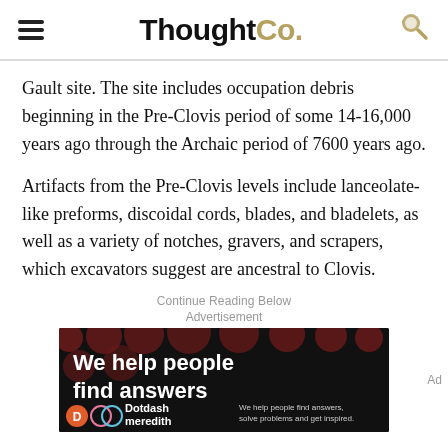ThoughtCo.
Gault site. The site includes occupation debris beginning in the Pre-Clovis period of some 14-16,000 years ago through the Archaic period of 7600 years ago.
Artifacts from the Pre-Clovis levels include lanceolate-like preforms, discoidal cords, blades, and bladelets, as well as a variety of notches, gravers, and scrapers, which excavators suggest are ancestral to Clovis.
Continue Reading Below
Advertisement
[Figure (other): Advertisement banner: black background with dark red dots pattern, large white bold text 'We help people find answers', Dotdash Meredith branding at bottom]